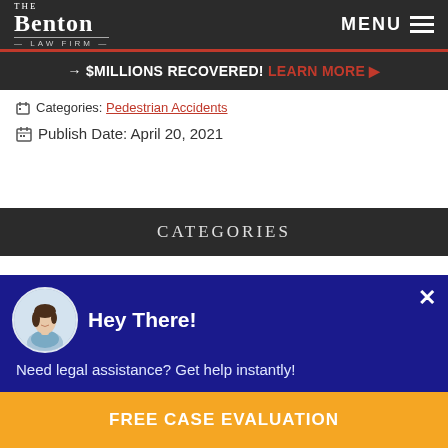The Benton Law Firm — MENU
→ $MILLIONS RECOVERED! LEARN MORE ▶
Categories: Pedestrian Accidents
Publish Date: April 20, 2021
CATEGORIES
Hey There!
Need legal assistance? Get help instantly!
FREE CASE EVALUATION